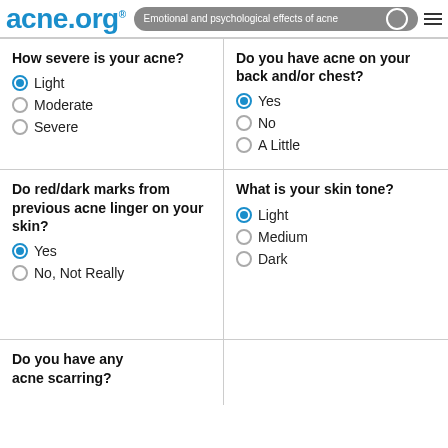acne.org® — Emotional and psychological effects of acne
How severe is your acne?
Light (selected)
Moderate
Severe
Do you have acne on your back and/or chest?
Yes (selected)
No
A Little
Do red/dark marks from previous acne linger on your skin?
Yes (selected)
No, Not Really
What is your skin tone?
Light (selected)
Medium
Dark
Do you have any acne scarring?